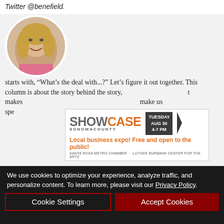Twitter @benefield.
[Figure (photo): Circular headshot photo of Kerry Benefield, a woman with shoulder-length blonde hair, smiling, wearing a pink top.]
Kerry Benefield
Columnist, The Press Democrat
Have a story that is wild, wacky, bizarre or beautiful? Tell me about it. Have a question that starts with, “What’s the deal with...?” Let’s figure it out together. This column is about the story behind the story, and the people, places and things that make us special. It’s also about questions that ve...
[Figure (advertisement): Showcase Sonoma County advertisement. Logo shows SHOW in gray and CASE in orange. Badge reads TUESDAY AUG 30 4-7 PM. Orange text: Local business expo! Free and open to the public! Small text: SANTA ROSA METRO CHAMBER · LUTHER BURBANK CENTER FOR THE ARTS]
We use cookies to optimize your experience, analyze traffic, and personalize content. To learn more, please visit our Privacy Policy.
Cookie Settings
Accept Cookies